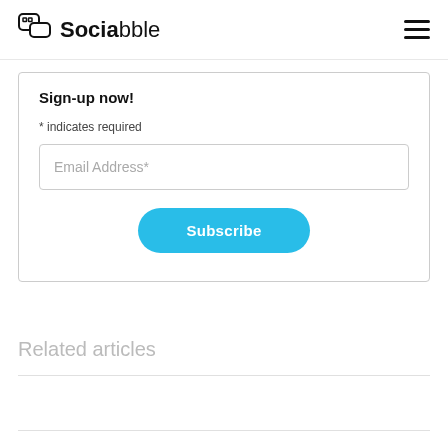Sociabble
Sign-up now!
* indicates required
Email Address*
Subscribe
Related articles